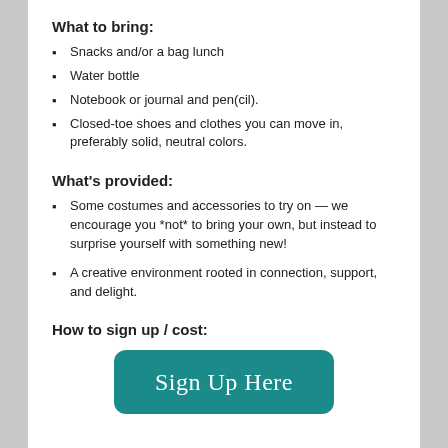What to bring:
Snacks and/or a bag lunch
Water bottle
Notebook or journal and pen(cil).
Closed-toe shoes and clothes you can move in, preferably solid, neutral colors.
What's provided:
Some costumes and accessories to try on — we encourage you *not* to bring your own, but instead to surprise yourself with something new!
A creative environment rooted in connection, support, and delight.
How to sign up / cost:
[Figure (other): Teal rounded rectangle button with text 'Sign Up Here' in white serif font]